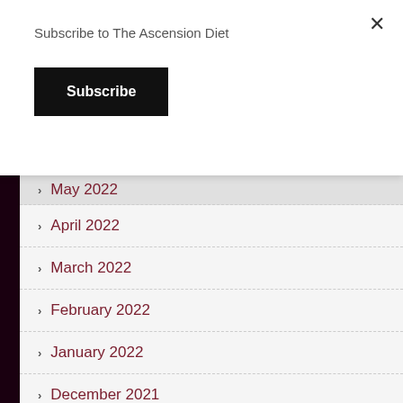Subscribe to The Ascension Diet
Subscribe
May 2022
April 2022
March 2022
February 2022
January 2022
December 2021
November 2021
October 2021